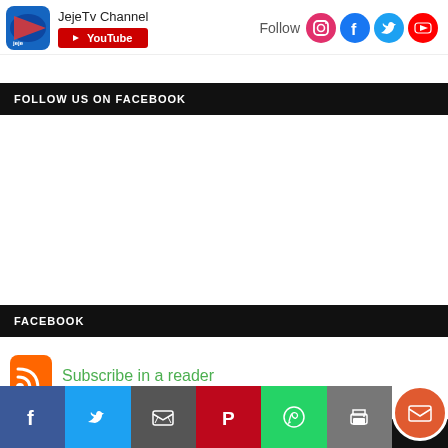[Figure (logo): JejeTv Channel logo with YouTube subscribe button and social media follow icons (Instagram, Facebook, Twitter, YouTube)]
FOLLOW US ON FACEBOOK
FACEBOOK
[Figure (other): RSS feed icon with green Subscribe in a reader link]
JOIN US ON TWITTER
[Figure (other): Bottom share bar with Facebook, Twitter, Email, Pinterest, WhatsApp, Print, and Message buttons]